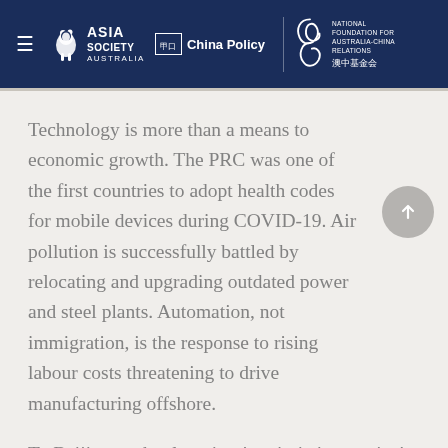Asia Society Australia | China Policy | National Foundation for Australia-China Relations 澳中基金会
Technology is more than a means to economic growth. The PRC was one of the first countries to adopt health codes for mobile devices during COVID-19. Air pollution is successfully battled by relocating and upgrading outdated power and steel plants. Automation, not immigration, is the response to rising labour costs threatening to drive manufacturing offshore.
To Beijing, technology is a 'patriotic imperative' pursued with missionary